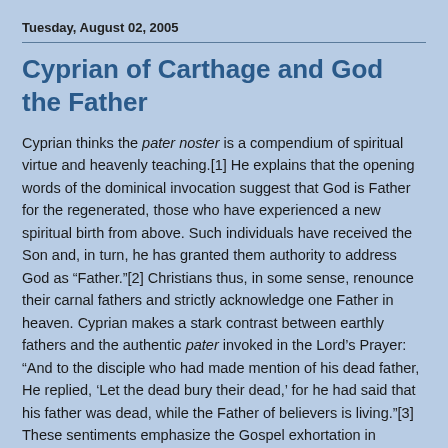Tuesday, August 02, 2005
Cyprian of Carthage and God the Father
Cyprian thinks the pater noster is a compendium of spiritual virtue and heavenly teaching.[1] He explains that the opening words of the dominical invocation suggest that God is Father for the regenerated, those who have experienced a new spiritual birth from above. Such individuals have received the Son and, in turn, he has granted them authority to address God as “Father.”[2] Christians thus, in some sense, renounce their carnal fathers and strictly acknowledge one Father in heaven. Cyprian makes a stark contrast between earthly fathers and the authentic pater invoked in the Lord’s Prayer: “And to the disciple who had made mention of his dead father, He replied, ‘Let the dead bury their dead,’ for he had said that his father was dead, while the Father of believers is living.”[3] These sentiments emphasize the Gospel exhortation in Matthew 23:9. Rather than applying the Lord’s directive to religious authorities, however, Cyprian directs attention toward men who are